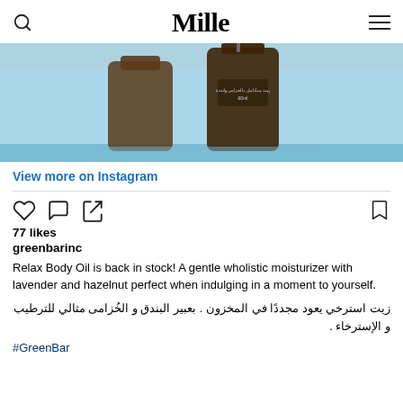Mille
[Figure (photo): Instagram post photo showing two dark amber glass bottles on a light blue background — a body oil product (Relax Body Oil) partially visible at the bottom of the frame.]
View more on Instagram
77 likes
greenbarinc
Relax Body Oil is back in stock! A gentle wholistic moisturizer with lavender and hazelnut perfect when indulging in a moment to yourself.
زيت استرخي يعود مجددًا في المخزون . بعبير البندق و الخُزامى مثالي للترطيب و الإسترخاء .
#GreenBar